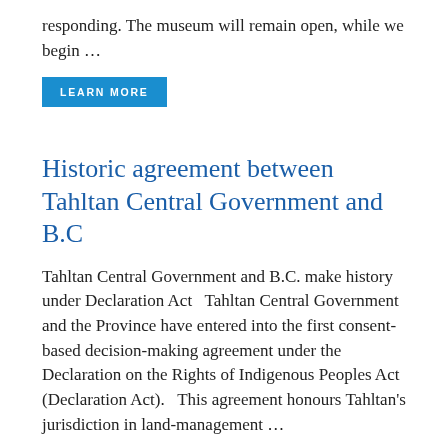responding. The museum will remain open, while we begin …
LEARN MORE
Historic agreement between Tahltan Central Government and B.C
Tahltan Central Government and B.C. make history under Declaration Act  Tahltan Central Government and the Province have entered into the first consent-based decision-making agreement under the Declaration on the Rights of Indigenous Peoples Act (Declaration Act).  This agreement honours Tahltan's jurisdiction in land-management …
LEARN MORE